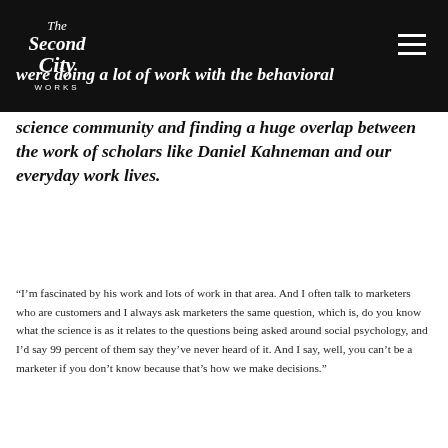[Figure (logo): The Second City Works logo in white on black background]
were doing a lot of work with the behavioral science community and finding a huge overlap between the work of scholars like Daniel Kahneman and our everyday work lives.
“I’m fascinated by his work and lots of work in that area. And I often talk to marketers who are customers and I always ask marketers the same question, which is, do you know what the science is as it relates to the questions being asked around social psychology, and I’d say 99 percent of them say they’ve never heard of it. And I say, well, you can’t be a marketer if you don’t know because that’s how we make decisions.”